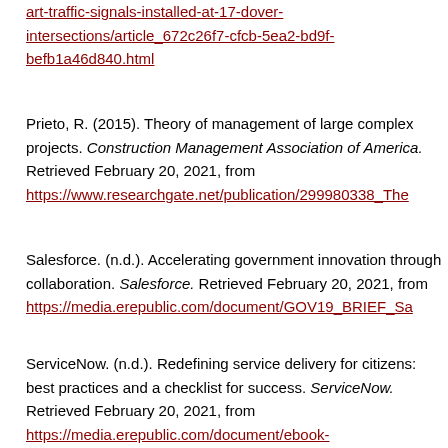art-traffic-signals-installed-at-17-dover-intersections/article_672c26f7-cfcb-5ea2-bd9f-befb1a46d840.html
Prieto, R. (2015). Theory of management of large complex projects. Construction Management Association of America. Retrieved February 20, 2021, from https://www.researchgate.net/publication/299980338_The
Salesforce. (n.d.). Accelerating government innovation through collaboration. Salesforce. Retrieved February 20, 2021, from https://media.erepublic.com/document/GOV19_BRIEF_Sa
ServiceNow. (n.d.). Redefining service delivery for citizens: best practices and a checklist for success. ServiceNow. Retrieved February 20, 2021, from https://media.erepublic.com/document/ebook-government-modernizing-csm.pdf